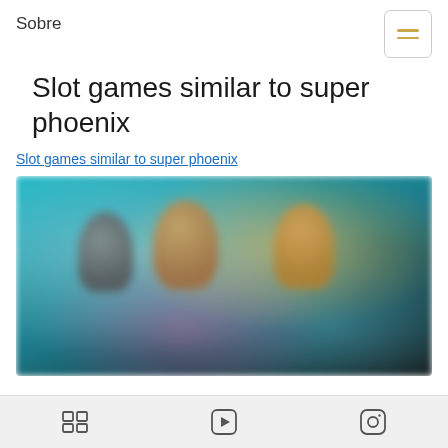Sobre
Slot games similar to super phoenix
Slot games similar to super phoenix
[Figure (screenshot): Blurred screenshot of a slot game interface showing multiple game characters and game thumbnails on a dark teal/blue background]
Grid icon | Play icon | Instagram icon